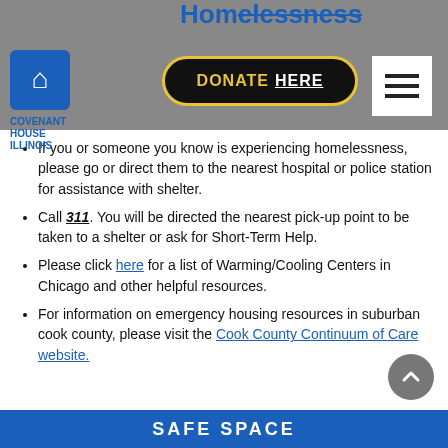Experiencing Homelessness
[Figure (logo): Covenant House Illinois logo with blue icon and text]
[Figure (other): DONATE HERE button with yellow border on black background]
[Figure (other): Hamburger menu icon (three horizontal lines) in white box]
If you or someone you know is experiencing homelessness, please go or direct them to the nearest hospital or police station for assistance with shelter.
Call 311. You will be directed the nearest pick-up point to be taken to a shelter or ask for Short-Term Help.
Please click here for a list of Warming/Cooling Centers in Chicago and other helpful resources.
For information on emergency housing resources in suburban cook county, please visit the Cook County Continuum of Care website.
SAFE SPACE